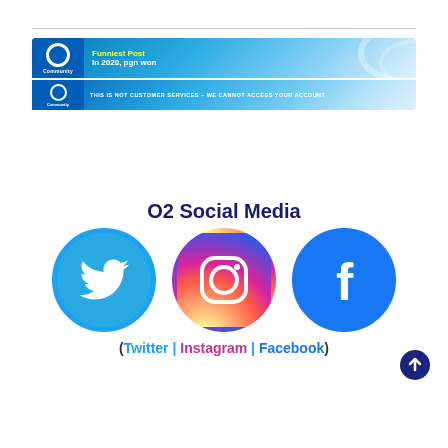[Figure (screenshot): O2 Community banner showing 'Funniest Post - In 2020, pgn won' and a second banner showing 'THIS IS NOT CUSTOMER SERVICES - WE CANNOT ACCESS YOUR ACCOUNT']
O2 Social Media
[Figure (illustration): Three social media icons side by side: Twitter (blue bird), Instagram (gradient camera), Facebook (blue f)]
(Twitter | Instagram | Facebook)